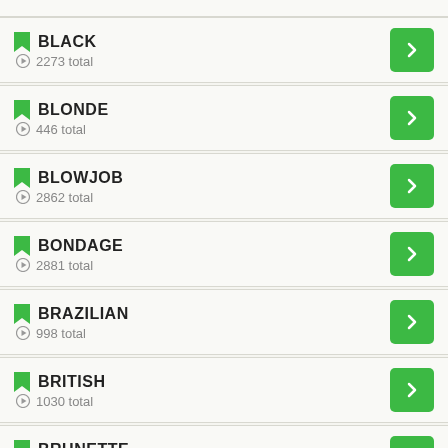BLACK – 2273 total
BLONDE – 446 total
BLOWJOB – 2862 total
BONDAGE – 2881 total
BRAZILIAN – 998 total
BRITISH – 1030 total
BRUNETTE – 420 total